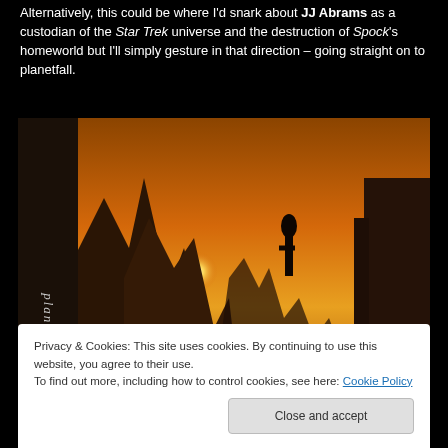Alternatively, this could be where I'd snark about JJ Abrams as a custodian of the Star Trek universe and the destruction of Spock's homeworld but I'll simply gesture in that direction – going straight on to planetfall.
[Figure (photo): A dramatic alien landscape (Vulcan) with large rocky formations, a bright orange sunset sky, and silhouetted figures. A vertical alien script text runs along the left side of the image.]
Vulcan is a place about which I've some strong opinions. If fact-finding could happen on a fictional planet, this would be a dream come true.
Privacy & Cookies: This site uses cookies. By continuing to use this website, you agree to their use.
To find out more, including how to control cookies, see here: Cookie Policy
Close and accept